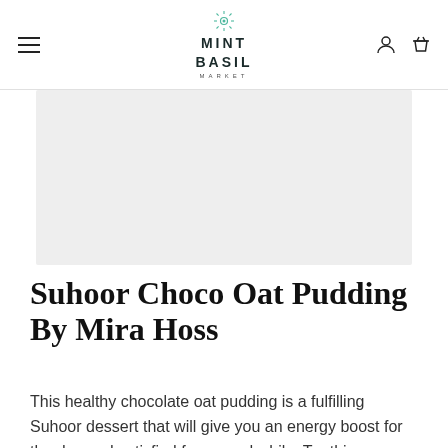MINT BASIL MARKET
[Figure (photo): Large light gray placeholder image for a food recipe photo]
Suhoor Choco Oat Pudding By Mira Hoss
This healthy chocolate oat pudding is a fulfilling Suhoor dessert that will give you an energy boost for the day and satisfied for a good while. Try this